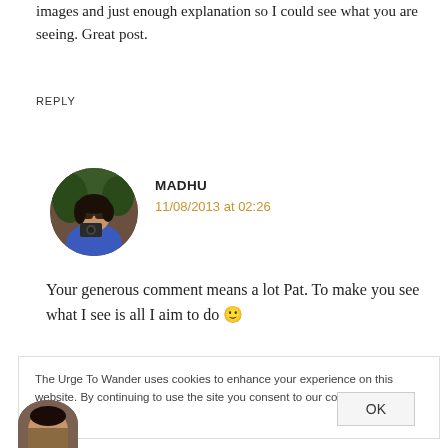images and just enough explanation so I could see what you are seeing. Great post.
REPLY
[Figure (photo): Circular avatar photo of Madhu, a woman with dark hair and sunglasses holding a camera, wearing a blue top.]
MADHU
11/08/2013 at 02:26
Your generous comment means a lot Pat. To make you see what I see is all I aim to do 🙂
The Urge To Wander uses cookies to enhance your experience on this website. By continuing to use the site you consent to our cookies. Privacy Policy
OK
[Figure (photo): Partial circular avatar photo visible at the bottom of the page.]